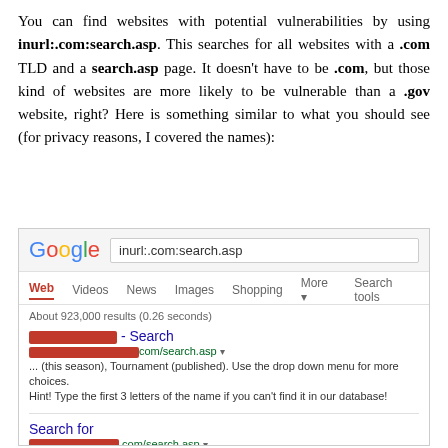You can find websites with potential vulnerabilities by using inurl:.com:search.asp. This searches for all websites with a .com TLD and a search.asp page. It doesn't have to be .com, but those kind of websites are more likely to be vulnerable than a .gov website, right? Here is something similar to what you should see (for privacy reasons, I covered the names):
[Figure (screenshot): Screenshot of a Google search results page for 'inurl:.com:search.asp' showing search tabs (Web, Videos, News, Images, Shopping, More, Search tools), result count 'About 923,000 results (0.26 seconds)', two visible results with redacted (covered in red) domain names, and a partially visible third result also redacted.]